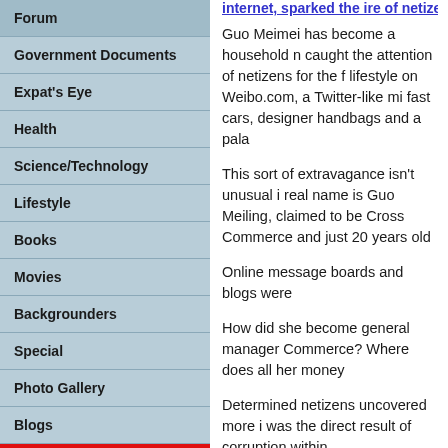Forum
Government Documents
Expat's Eye
Health
Science/Technology
Lifestyle
Books
Movies
Backgrounders
Special
Photo Gallery
Blogs
Reader's Service
Learning with 'Beijing Review'
E-mail us
RSS Feeds
Guo Meimei has become a household n... caught the attention of netizens for the f... lifestyle on Weibo.com, a Twitter-like mi... fast cars, designer handbags and a pala...
This sort of extravagance isn't unusual i... real name is Guo Meiling, claimed to be... Cross Commerce and just 20 years old...
Online message boards and blogs were...
How did she become general manager... Commerce? Where does all her money...
Determined netizens uncovered more i... was the direct result of corruption within...
The flurry of online activity soon brough... and just five years ago, it seems, she w...
Five years later, however, she began to...